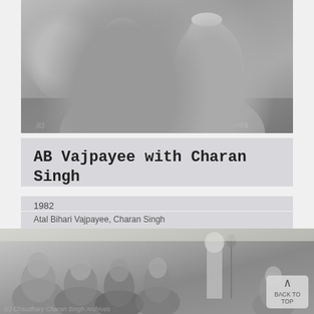[Figure (photo): Black and white photograph of AB Vajpayee and Charan Singh seated together, facing each other in conversation, taken in 1982. Charan Singh is wearing a white cap. Watermark reading 'chives' visible at bottom right.]
AB Vajpayee with Charan Singh
1982
Atal Bihari Vajpayee, Charan Singh
[Figure (photo): Black and white photograph of a public gathering or event, with several men seated on the ground and one man standing at a microphone. A tent canopy is visible. Watermark at bottom left. 'BACK TO TOP' button visible at bottom right.]